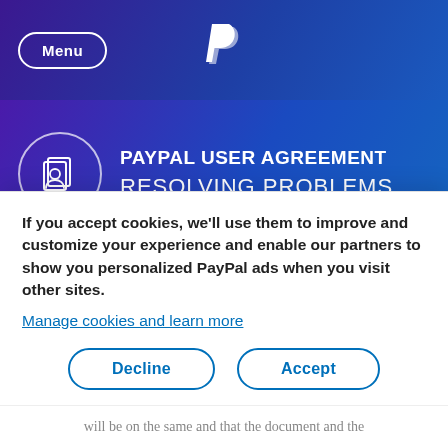Menu | PayPal logo
PAYPAL USER AGREEMENT
RESOLVING PROBLEMS
terms and conditions between you and us. Your account overview may show the notional amount available in your special funding arrangements to fund qualifying payments at any given time. This amount does not constitute electronic money, is not deemed part of your PayPal balance and is not
If you accept cookies, we'll use them to improve and customize your experience and enable our partners to show you personalized PayPal ads when you visit other sites. Manage cookies and learn more
will be on the same and that the document and the